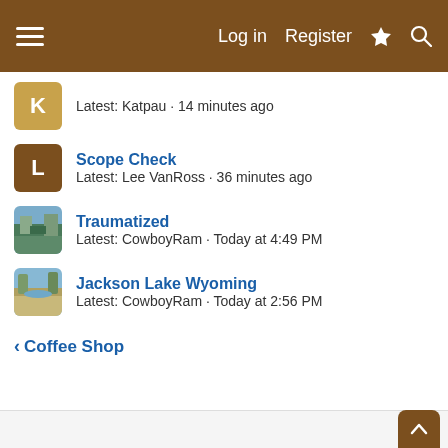Log in  Register
Latest: Katpau · 14 minutes ago
Scope Check
Latest: Lee VanRoss · 36 minutes ago
Traumatized
Latest: CowboyRam · Today at 4:49 PM
Jackson Lake Wyoming
Latest: CowboyRam · Today at 2:56 PM
< Coffee Shop